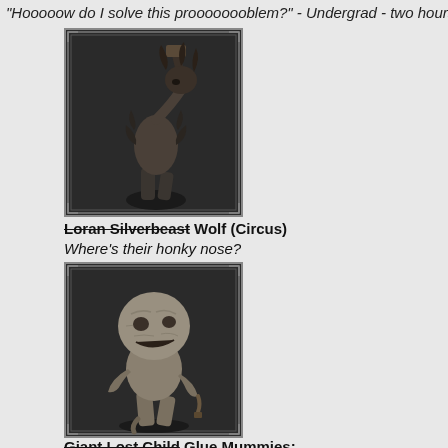"Hooooow do I solve this proooooooblem?" - Undergrad - two hours b
[Figure (illustration): Dark fantasy creature resembling a beast/monster hunched over with raised arm holding a weapon, on a dark ornate background]
Loran Silverbeast Wolf (Circus)
Where's their honky nose?
[Figure (illustration): Dark fantasy creature resembling a large hunched mummy-like monster with a massive round head, on a dark ornate background]
Giant Lost Child Glue Mummies:
"Hey, what's that flying towards m- OH GOD! -YOU DIED-